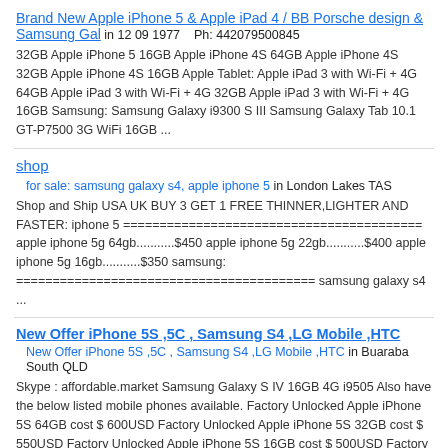Brand New Apple iPhone 5 & Apple iPad 4 / BB Porsche design & Samsung Gal in 12 09 1977    Ph: 442079500845
32GB Apple iPhone 5 16GB Apple iPhone 4S 64GB Apple iPhone 4S 32GB Apple iPhone 4S 16GB Apple Tablet: Apple iPad 3 with Wi-Fi + 4G 64GB Apple iPad 3 with Wi-Fi + 4G 32GB Apple iPad 3 with Wi-Fi + 4G 16GB Samsung: Samsung Galaxy i9300 S III Samsung Galaxy Tab 10.1 GT-P7500 3G WiFi 16GB ...
shop
for sale: samsung galaxy s4, apple iphone 5 in London Lakes TAS
Shop and Ship USA UK BUY 3 GET 1 FREE THINNER,LIGHTER AND FASTER: iphone 5 ========================================= apple iphone 5g 64gb...........$450 apple iphone 5g 22gb...........$400 apple iphone 5g 16gb...........$350 samsung: ========================================= samsung galaxy s4 ...
New Offer iPhone 5S ,5C , Samsung S4 ,LG Mobile ,HTC
New Offer iPhone 5S ,5C , Samsung S4 ,LG Mobile ,HTC in Buaraba South QLD
Skype : affordable.market Samsung Galaxy S IV 16GB 4G i9505 Also have the below listed mobile phones available. Factory Unlocked Apple iPhone 5S 64GB cost $ 600USD Factory Unlocked Apple iPhone 5S 32GB cost $ 550USD Factory Unlocked Apple iPhone 5S 16GB cost $ 500USD Factory Unlocked Apple ...